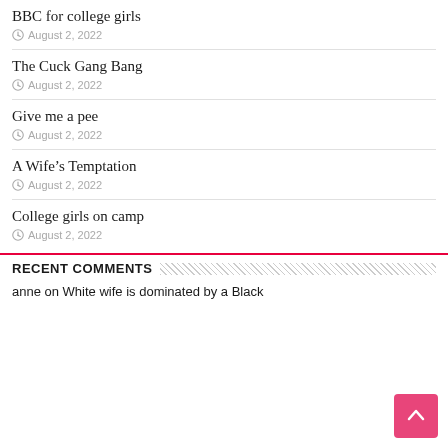BBC for college girls
August 2, 2022
The Cuck Gang Bang
August 2, 2022
Give me a pee
August 2, 2022
A Wife's Temptation
August 2, 2022
College girls on camp
August 2, 2022
RECENT COMMENTS
anne on White wife is dominated by a Black